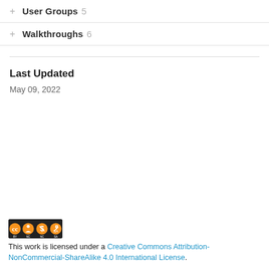+ User Groups 5
+ Walkthroughs 6
Last Updated
May 09, 2022
[Figure (logo): Creative Commons BY NC SA license badge]
This work is licensed under a Creative Commons Attribution-NonCommercial-ShareAlike 4.0 International License.